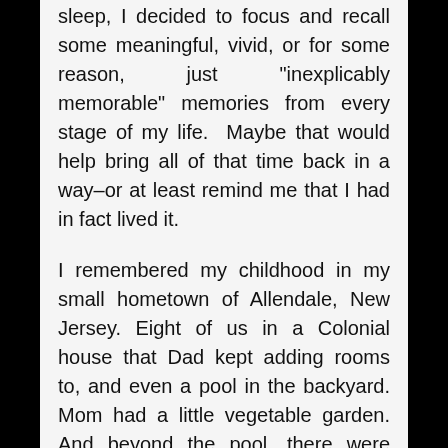sleep, I decided to focus and recall some meaningful, vivid, or for some reason, just "inexplicably memorable" memories from every stage of my life.  Maybe that would help bring all of that time back in a way–or at least remind me that I had in fact lived it.
I remembered my childhood in my small hometown of Allendale, New Jersey. Eight of us in a Colonial house that Dad kept adding rooms to, and even a pool in the backyard. Mom had a little vegetable garden. And beyond the pool, there were woods and a brook (Valentine Brook) that we waded in, caught fish in, skated on and crossed by climbing over a fallen tree to get to Bruno's Meat Market across the brook and in the adjacent town (Mahwah) so we could buy candy. I remembered